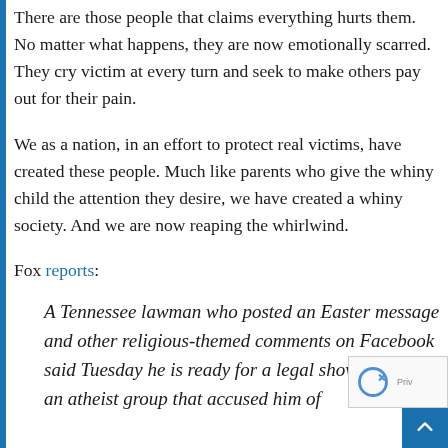There are those people that claims everything hurts them. No matter what happens, they are now emotionally scarred. They cry victim at every turn and seek to make others pay out for their pain.
We as a nation, in an effort to protect real victims, have created these people. Much like parents who give the whiny child the attention they desire, we have created a whiny society. And we are now reaping the whirlwind.
Fox reports:
A Tennessee lawman who posted an Easter message and other religious-themed comments on Facebook said Tuesday he is ready for a legal showdown with an atheist group that accused him of